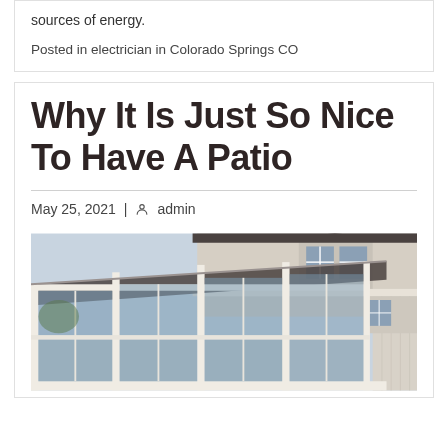sources of energy.
Posted in electrician in Colorado Springs CO
Why It Is Just So Nice To Have A Patio
May 25, 2021 | admin
[Figure (photo): Exterior photo of a house with a sunroom or enclosed patio addition featuring large white-framed windows and a peaked roof, with a dormer window visible on the main house above, overcast sky in background.]